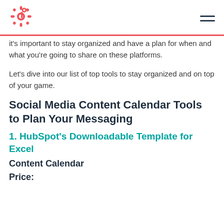HubSpot logo and navigation menu
it's important to stay organized and have a plan for when and what you're going to share on these platforms.
Let's dive into our list of top tools to stay organized and on top of your game.
Social Media Content Calendar Tools to Plan Your Messaging
1. HubSpot's Downloadable Template for Excel
Content Calendar
Price: